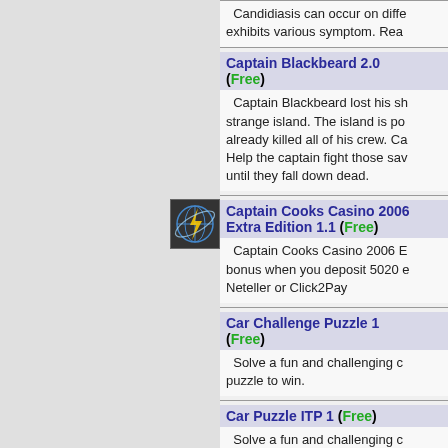[Figure (logo): Globe/network icon logo in dark blue with lightning bolt]
[Figure (logo): PAD Enabled logo badge in blue]
Candidiasis can occur on diffe... exhibits various symptom. Rea...
Captain Blackbeard 2.0 (Free)
Captain Blackbeard lost his sh... strange island. The island is po... already killed all of his crew. Ca... Help the captain fight those sav... until they fall down dead.
Captain Cooks Casino 2006 Extra Edition 1.1 (Free)
Captain Cooks Casino 2006 E... bonus when you deposit 5020 e... Neteller or Click2Pay
Car Challenge Puzzle 1 (Free)
Solve a fun and challenging c... puzzle to win.
Car Puzzle ITP 1 (Free)
Solve a fun and challenging c... puzzle to win.
Car Super Challenge 1 (Free)
Solve a fun and challenging c...